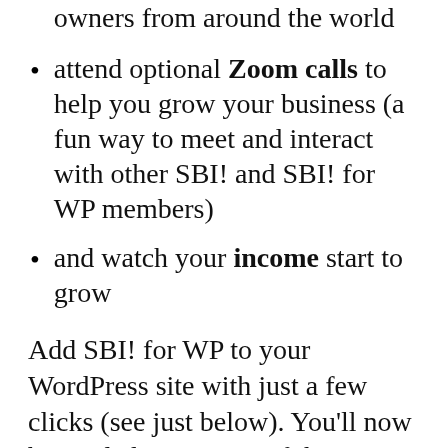owners from around the world
attend optional Zoom calls to help you grow your business (a fun way to meet and interact with other SBI! and SBI! for WP members)
and watch your income start to grow
Add SBI! for WP to your WordPress site with just a few clicks (see just below). You'll now be guided every step of the way as you build a business with increasing income and long-term equity.